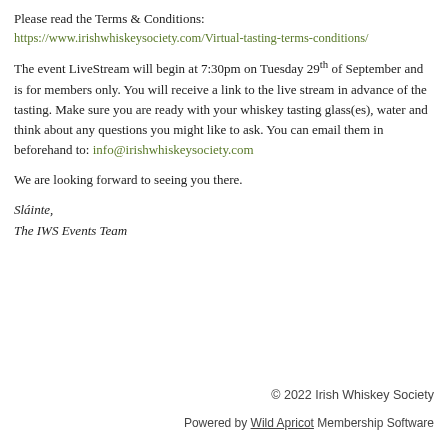Please read the Terms & Conditions:
https://www.irishwhiskeysociety.com/Virtual-tasting-terms-conditions/
The event LiveStream will begin at 7:30pm on Tuesday 29th of September and is for members only. You will receive a link to the live stream in advance of the tasting. Make sure you are ready with your whiskey tasting glass(es), water and think about any questions you might like to ask. You can email them in beforehand to: info@irishwhiskeysociety.com
We are looking forward to seeing you there.
Sláinte,
The IWS Events Team
© 2022 Irish Whiskey Society
Powered by Wild Apricot Membership Software